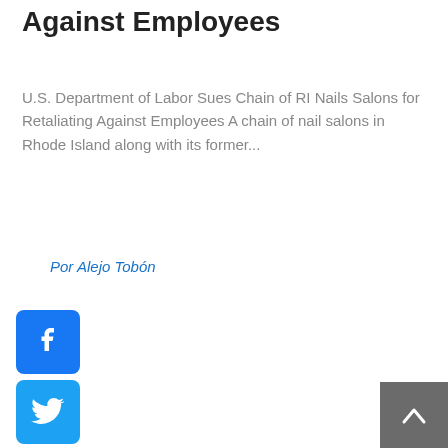Against Employees
U.S. Department of Labor Sues Chain of RI Nails Salons for Retaliating Against Employees A chain of nail salons in Rhode Island along with its former...
Por Alejo Tobón
[Figure (infographic): Social media share buttons: Facebook (blue), Twitter (blue), WhatsApp (green), Pinterest (red), LinkedIn (blue), Skype (light blue). Carousel navigation arrows (< >) and six pagination dots below. Back-to-top button in bottom right corner.]